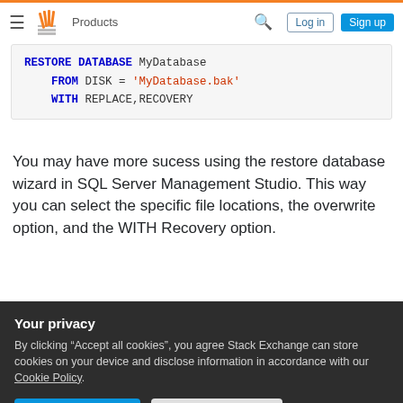Stack Overflow — Products | Log in | Sign up
[Figure (screenshot): Code block showing SQL RESTORE DATABASE command: RESTORE DATABASE MyDatabase FROM DISK = 'MyDatabase.bak' WITH REPLACE,RECOVERY]
You may have more sucess using the restore database wizard in SQL Server Management Studio. This way you can select the specific file locations, the overwrite option, and the WITH Recovery option.
Share   Follow   edited Nov 15, 2018 at 12:09   Martijn Pieters
Your privacy
By clicking "Accept all cookies", you agree Stack Exchange can store cookies on your device and disclose information in accordance with our Cookie Policy.
[Accept all cookies] [Customize settings]
3   I've never had to use the recovery statement when